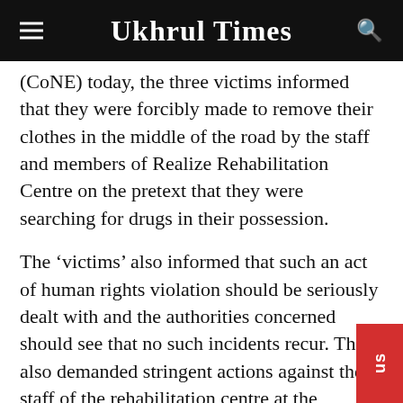Ukhrul Times
(CoNE) today, the three victims informed that they were forcibly made to remove their clothes in the middle of the road by the staff and members of Realize Rehabilitation Centre on the pretext that they were searching for drugs in their possession.
The ‘victims’ also informed that such an act of human rights violation should be seriously dealt with and the authorities concerned should see that no such incidents recur. They also demanded stringent actions against the staff of the rehabilitation centre at the earliest.
Convenor of the Drug Users Federation for Human Rights and Justice, Salam Berlin who wa